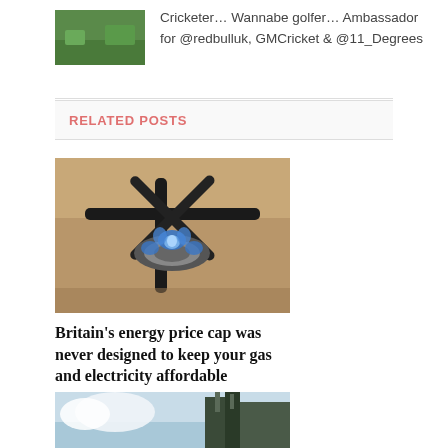[Figure (photo): Small green grass/field image thumbnail top left]
Cricketer… Wannabe golfer… Ambassador for @redbulluk, GMCricket & @11_Degrees
RELATED POSTS
[Figure (photo): Close-up photo of a gas stove burner with blue flames lit on a dark metal hob]
Britain's energy price cap was never designed to keep your gas and electricity affordable
[Figure (photo): Partial photo showing clouds and industrial building structure at bottom of page]